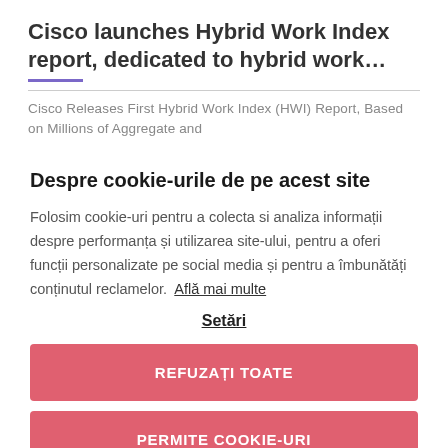Cisco launches Hybrid Work Index report, dedicated to hybrid work…
Cisco Releases First Hybrid Work Index (HWI) Report, Based on Millions of Aggregate and
Despre cookie-urile de pe acest site
Folosim cookie-uri pentru a colecta si analiza informații despre performanța și utilizarea site-ului, pentru a oferi funcții personalizate pe social media și pentru a îmbunătăți conținutul reclamelor. Află mai multe
Setări
REFUZAȚI TOATE
PERMITE COOKIE-URI